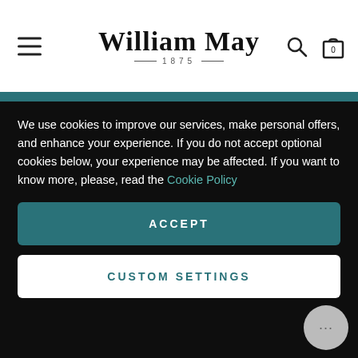William May — 1875
Newsletter
Enter your email address
We use cookies to improve our services, make personal offers, and enhance your experience. If you do not accept optional cookies below, your experience may be affected. If you want to know more, please, read the Cookie Policy
ACCEPT
CUSTOM SETTINGS